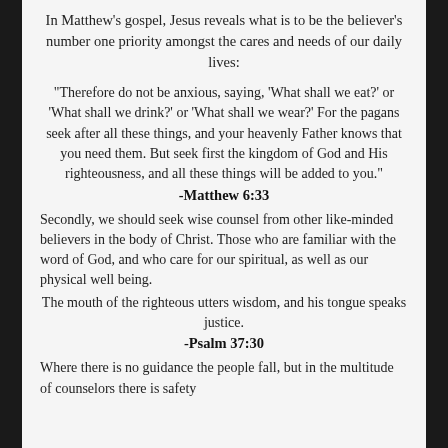In Matthew's gospel, Jesus reveals what is to be the believer's number one priority amongst the cares and needs of our daily lives:
“Therefore do not be anxious, saying, ‘What shall we eat?’ or ‘What shall we drink?’ or ‘What shall we wear?’ For the pagans seek after all these things, and your heavenly Father knows that you need them. But seek first the kingdom of God and His righteousness, and all these things will be added to you.”
-Matthew 6:33
Secondly, we should seek wise counsel from other like-minded believers in the body of Christ. Those who are familiar with the word of God, and who care for our spiritual, as well as our physical well being.
The mouth of the righteous utters wisdom, and his tongue speaks justice.
-Psalm 37:30
Where there is no guidance the people fall, but in the multitude of counselors there is safety